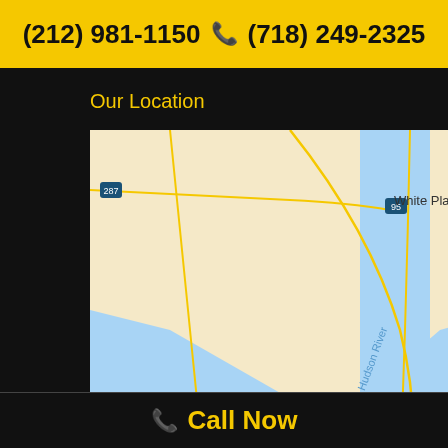(212) 981-1150 📞 (718) 249-2325
Our Location
[Figure (map): Google Map showing New York City area including Manhattan, Brooklyn, Queens, Bronx, and surrounding areas (White Plains, Stamford, Norwalk, Commack, Hicksville, Newark). A red pin marker indicates the location of Pro Pump Corp. - Pump & Motor Repair NYC in the Queens/Long Island area.]
Call Now